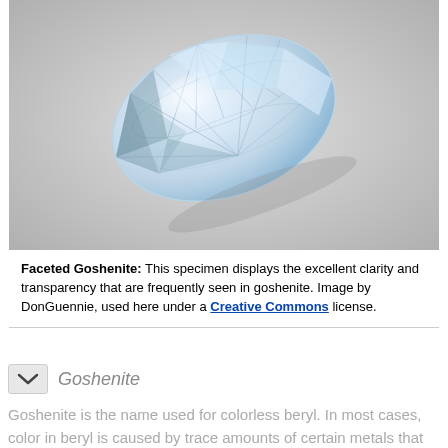[Figure (photo): A faceted goshenite (colorless beryl) gemstone in a pear/teardrop shape, photographed against a light gray background. The gem is transparent and exhibits excellent clarity with visible faceting.]
Faceted Goshenite: This specimen displays the excellent clarity and transparency that are frequently seen in goshenite. Image by DonGuennie, used here under a Creative Commons license.
Goshenite
Goshenite is the name used for colorless beryl. In most cases, color in beryl is caused by trace amounts of certain metals that impart a color. That is often the